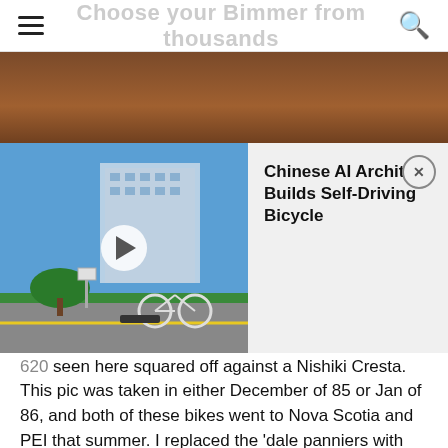Choose your Bimmer from thousands
[Figure (photo): Top portion of outdoor photo showing reddish-brown mulch/dirt ground with some green foliage]
[Figure (screenshot): Video thumbnail showing a self-driving bicycle on a road near a modern building, with a play button overlay, and an info panel titled 'Chinese AI Architect Builds Self-Driving Bicycle' with a close button]
I sold the Nishiki in the fall of 83 in favor of an 84 Trek 620 seen here squared off against a Nishiki Cresta. This pic was taken in either December of 85 or Jan of 86, and both of these bikes went to Nova Scotia and PEI that summer. I replaced the 'dale panniers with some then-NOS Eclipse, which I still have and occasionally use. This was the last year of the 620 without the cast seat lugs, although I think it had the cast lugs on the dropouts.
[Figure (photo): Bottom portion of a photo showing what appears to be garage doors or panels in gray and dark tones]